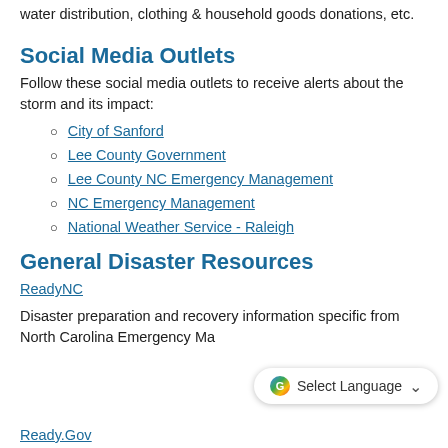water distribution, clothing & household goods donations, etc.
Social Media Outlets
Follow these social media outlets to receive alerts about the storm and its impact:
City of Sanford
Lee County Government
Lee County NC Emergency Management
NC Emergency Management
National Weather Service - Raleigh
General Disaster Resources
ReadyNC
Disaster preparation and recovery information specific from North Carolina Emergency Ma...
Ready.Gov